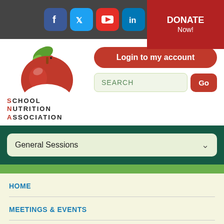[Figure (screenshot): School Nutrition Association website header with social media icons (Facebook, Twitter, YouTube, LinkedIn, Instagram), Donate Now button, logo with apple illustration, Login to my account button, search bar with Go button, General Sessions dropdown navigation, breadcrumb navigation links (HOME, MEETINGS & EVENTS, SCHOOL NUTRITION INDUSTRY CONFERENCE), and partial General Sessions title in red italic text.]